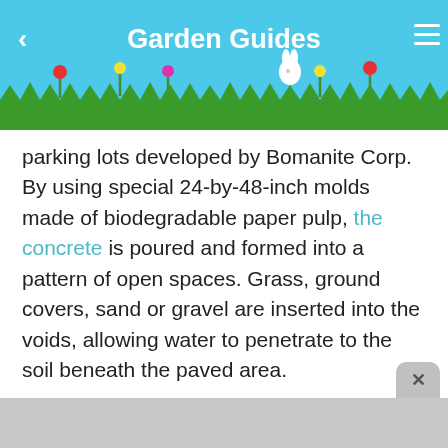Garden Guides
parking lots developed by Bomanite Corp. By using special 24-by-48-inch molds made of biodegradable paper pulp, the concrete is poured and formed into a pattern of open spaces. Grass, ground covers, sand or gravel are inserted into the voids, allowing water to penetrate to the soil beneath the paved area.